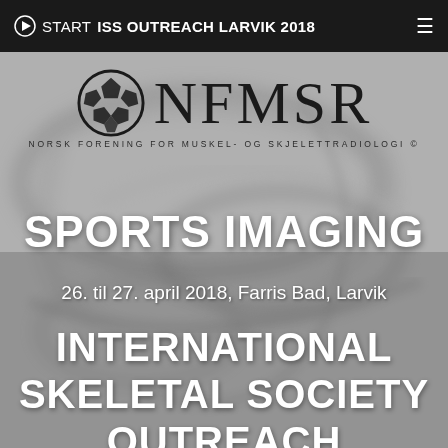▶ START ISS OUTREACH LARVIK 2018  ≡
[Figure (logo): NFMSR logo with soccer ball icon and text 'NFMSR - NORSK FORENING FOR MUSKEL- OG SKJELETTRADIOLOGI ©' on a blurred gray organic background]
SPORTS IMAGING
26. til 27. april 2018, Farris Bad, Larvik
INTERNATIONAL SKELETAL SOCIETY OUTREACH PROGRAMME